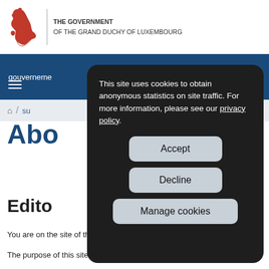THE GOVERNMENT OF THE GRAND DUCHY OF LUXEMBOURG
gouverneme
EN
Abo
Edito
This site uses cookies to obtain anonymous statistics on site traffic. For more information, please see our privacy policy.
Accept
Decline
Manage cookies
You are on the site of the Governement IT Centre (CTIE).
The purpose of this site is to disseminate information on the